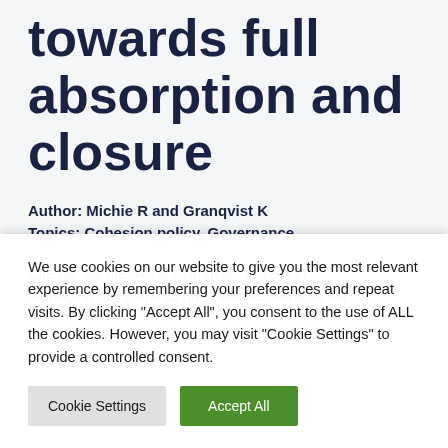towards full absorption and closure
Author: Michie R and Granqvist K
Topics: Cohesion policy, Governance
Cite as: Michie, R., & Granqvist, K. (2013)
Managing the 2007-13 programmes towards full
We use cookies on our website to give you the most relevant experience by remembering your preferences and repeat visits. By clicking "Accept All", you consent to the use of ALL the cookies. However, you may visit "Cookie Settings" to provide a controlled consent.